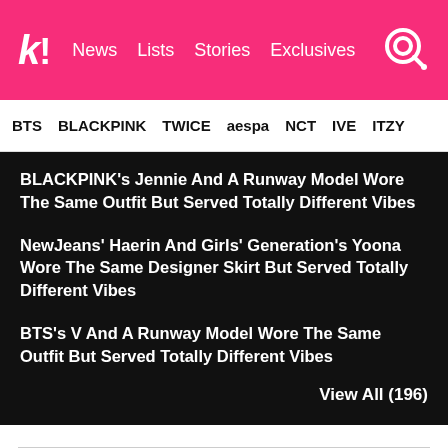k! News  Lists  Stories  Exclusives
BTS  BLACKPINK  TWICE  aespa  NCT  IVE  ITZY
BLACKPINK's Jennie And A Runway Model Wore The Same Outfit But Served Totally Different Vibes
NewJeans' Haerin And Girls' Generation's Yoona Wore The Same Designer Skirt But Served Totally Different Vibes
BTS's V And A Runway Model Wore The Same Outfit But Served Totally Different Vibes
View All (196)
Share This Post